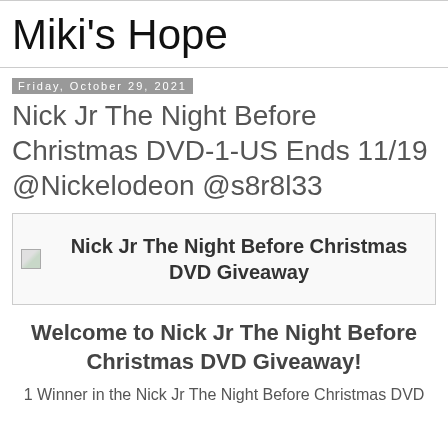Miki's Hope
Friday, October 29, 2021
Nick Jr The Night Before Christmas DVD-1-US Ends 11/19 @Nickelodeon @s8r8l33
[Figure (illustration): Broken image placeholder with caption: Nick Jr The Night Before Christmas DVD Giveaway]
Welcome to Nick Jr The Night Before Christmas DVD Giveaway!
1 Winner in the Nick Jr The Night Before Christmas DVD